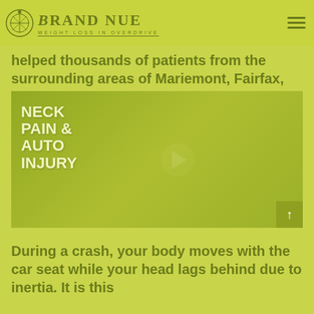Brand NUE — Weight Loss in Overdrive
helped thousands of patients from the surrounding areas of Mariemont, Fairfax, and Anderson, OH.
[Figure (screenshot): Video thumbnail showing text 'NECK PAIN & AUTO INJURY' with a play button in the center, overlaid on a green-tinted background image.]
During a crash, your body moves with the car seat while your head lags behind due to inertia. It is this diff...